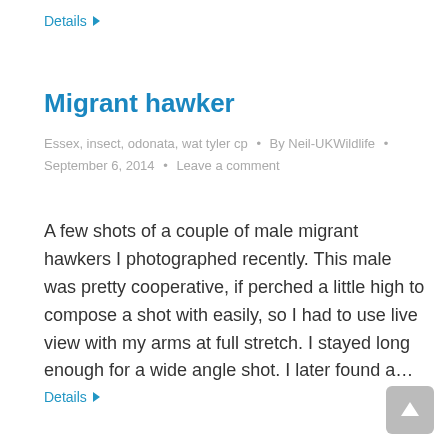Details ▶
Migrant hawker
Essex, insect, odonata, wat tyler cp  •  By Neil-UKWildlife  •  September 6, 2014  •  Leave a comment
A few shots of a couple of male migrant hawkers I photographed recently. This male was pretty cooperative, if perched a little high to compose a shot with easily, so I had to use live view with my arms at full stretch. I stayed long enough for a wide angle shot. I later found a…
Details ▶